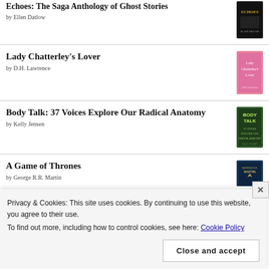Echoes: The Saga Anthology of Ghost Stories by Ellen Datlow
Lady Chatterley's Lover by D.H. Lawrence
Body Talk: 37 Voices Explore Our Radical Anatomy by Kelly Jensen
A Game of Thrones by George R.R. Martin
Privacy & Cookies: This site uses cookies. By continuing to use this website, you agree to their use.
To find out more, including how to control cookies, see here: Cookie Policy
Close and accept